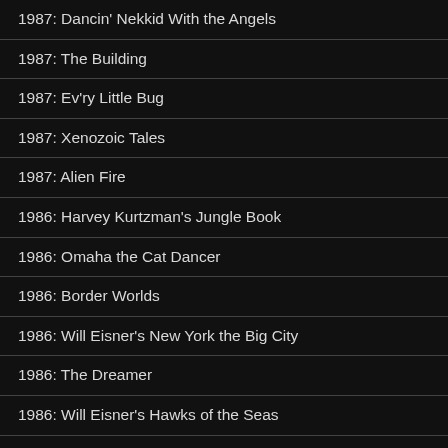1987: Dancin' Nekkid With the Angels
1987: The Building
1987: Ev'ry Little Bug
1987: Xenozoic Tales
1987: Alien Fire
1986: Harvey Kurtzman's Jungle Book
1986: Omaha the Cat Dancer
1986: Border Worlds
1986: Will Eisner's New York the Big City
1986: The Dreamer
1986: Will Eisner's Hawks of the Seas
1986: Steve Canyon 3-D
1985: Will Eisner's 3-D Classics featuring The Spirit